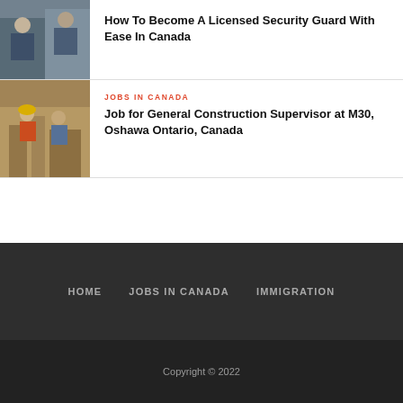[Figure (photo): Two people in security guard uniforms smiling]
How To Become A Licensed Security Guard With Ease In Canada
[Figure (photo): Construction workers on a site, one wearing a yellow hard hat]
JOBS IN CANADA
Job for General Construction Supervisor at M30, Oshawa Ontario, Canada
HOME   JOBS IN CANADA   IMMIGRATION
Copyright © 2022